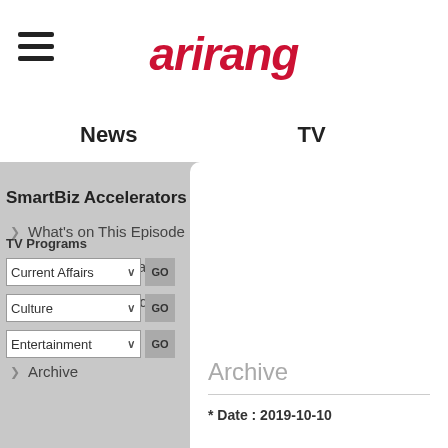[Figure (logo): Arirang TV logo in red italic text with hamburger menu icon on left]
News
TV
SmartBiz Accelerators
What's on This Episode
About The Program
Video on Demand
Special VOD
Archive
TV Programs
Current Affairs
Culture
Entertainment
Archive
* Date : 2019-10-10